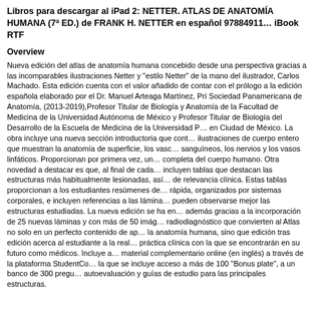Libros para descargar al iPad 2: NETTER. ATLAS DE ANATOMIA HUMANA (7ª ED.) de FRANK H. NETTER en español 9788849113... iBook RTF
Overview
Nueva edición del atlas de anatomía humana concebido desde una perspectiva gracias a las incomparables ilustraciones Netter y "estilo Netter" de la mano del ilustrador, Carlos Machado. Esta edición cuenta con el valor añadido de contar con el prólogo a la edición española elaborado por el Dr. Manuel Arteaga Martínez, Presidente Sociedad Panamericana de Anatomía, (2013-2019),Profesor Titular de Biología y Anatomía de la Facultad de Medicina de la Universidad Autónoma de México y Profesor Titular de Biología del Desarrollo de la Escuela de Medicina de la Universidad P... en Ciudad de México. La obra incluye una nueva sección introductoria que contiene ilustraciones de cuerpo entero que muestran la anatomía de superficie, los vasos sanguíneos, los nervios y los vasos linfáticos. Proporcionan por primera vez, una vista completa del cuerpo humano. Otra novedad a destacar es que, al final de cada capítulo incluyen tablas que destacan las estructuras más habitualmente lesionadas, así como de relevancia clínica. Estas tablas proporcionan a los estudiantes resúmenes de consulta rápida, organizados por sistemas corporales, e incluyen referencias a las láminas donde pueden observarse mejor las estructuras estudiadas. La nueva edición se ha enriquecido además gracias a la incorporación de 25 nuevas láminas y con más de 50 imágenes de radiodiagnóstico que convierten al Atlas no solo en un perfecto contenido de aprendizaje de la anatomía humana, sino que edición tras edición acerca al estudiante a la realidad de la práctica clínica con la que se encontrarán en su futuro como médicos. Incluye acceso al material complementario online (en inglés) a través de la plataforma StudentConsult, en la que se incluye acceso a más de 100 "Bonus plate", a un banco de 300 preguntas de autoevaluación y guías de estudio para las principales estructuras.